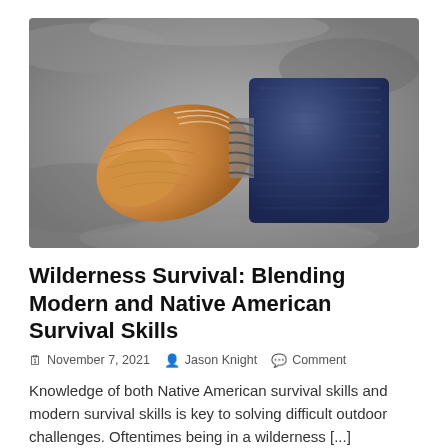[Figure (photo): Close-up photo of a wooden bow-drill fire kit component (an orange-tan wooden piece shaped like a handle or bow) alongside a dark navy blue axe or cutting tool head, resting on grey rocky surface.]
Wilderness Survival: Blending Modern and Native American Survival Skills
November 7, 2021  Jason Knight  Comment
Knowledge of both Native American survival skills and modern survival skills is key to solving difficult outdoor challenges. Oftentimes being in a wilderness [...]